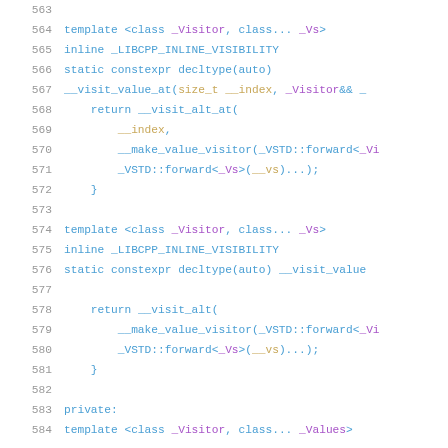[Figure (screenshot): C++ source code viewer showing lines 563–584 with syntax highlighting. Blue keywords, purple template parameters, gold type names on dark/white background.]